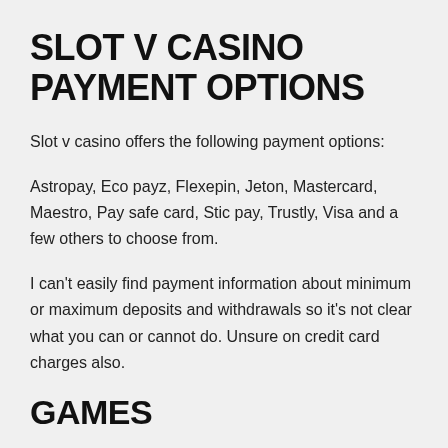SLOT V CASINO PAYMENT OPTIONS
Slot v casino offers the following payment options:
Astropay, Eco payz, Flexepin, Jeton, Mastercard, Maestro, Pay safe card, Stic pay, Trustly, Visa and a few others to choose from.
I can't easily find payment information about minimum or maximum deposits and withdrawals so it's not clear what you can or cannot do. Unsure on credit card charges also.
GAMES